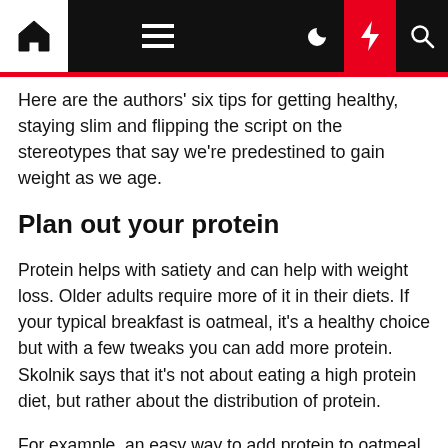Navigation bar with home, menu, moon, lightning, and search icons
Here are the authors' six tips for getting healthy, staying slim and flipping the script on the stereotypes that say we're predestined to gain weight as we age.
Plan out your protein
Protein helps with satiety and can help with weight loss. Older adults require more of it in their diets. If your typical breakfast is oatmeal, it's a healthy choice but with a few tweaks you can add more protein. Skolnik says that it's not about eating a high protein diet, but rather about the distribution of protein.
For example, an easy way to add protein to oatmeal is to cook the oats in milk, says Skolnik. "We can't say enough about the nutritional power of hemp